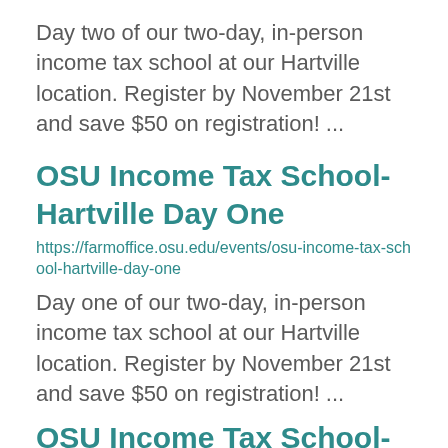Day two of our two-day, in-person income tax school at our Hartville location. Register by November 21st and save $50 on registration! ...
OSU Income Tax School- Hartville Day One
https://farmoffice.osu.edu/events/osu-income-tax-school-hartville-day-one
Day one of our two-day, in-person income tax school at our Hartville location. Register by November 21st and save $50 on registration! ...
OSU Income Tax School-